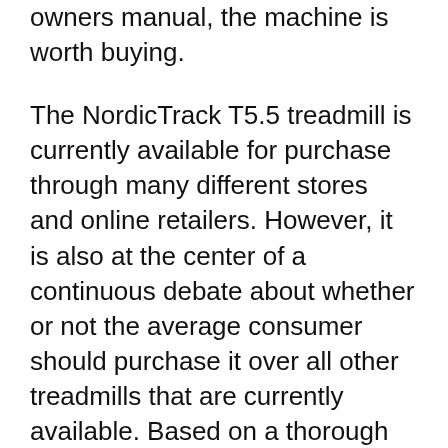owners manual, the machine is worth buying.
The NordicTrack T5.5 treadmill is currently available for purchase through many different stores and online retailers. However, it is also at the center of a continuous debate about whether or not the average consumer should purchase it over all other treadmills that are currently available. Based on a thorough study of NordicTrack T5.5 treadmill reviews and observations, we think that you NordicTrack T5.3? Your question was published, help is on its way! NordicTrack T5.3 Disassembly . Report This by Manage My Life. February 5th,